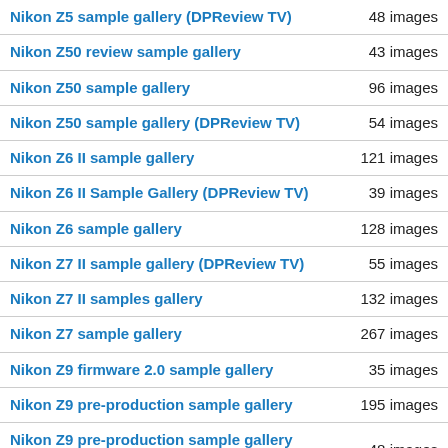| Gallery | Count |
| --- | --- |
| Nikon Z5 sample gallery (DPReview TV) | 48 images |
| Nikon Z50 review sample gallery | 43 images |
| Nikon Z50 sample gallery | 96 images |
| Nikon Z50 sample gallery (DPReview TV) | 54 images |
| Nikon Z6 II sample gallery | 121 images |
| Nikon Z6 II Sample Gallery (DPReview TV) | 39 images |
| Nikon Z6 sample gallery | 128 images |
| Nikon Z7 II sample gallery (DPReview TV) | 55 images |
| Nikon Z7 II samples gallery | 132 images |
| Nikon Z7 sample gallery | 267 images |
| Nikon Z9 firmware 2.0 sample gallery | 35 images |
| Nikon Z9 pre-production sample gallery | 195 images |
| Nikon Z9 pre-production sample gallery (DPReview TV) | 48 images |
| Nikon Z9 production sample gallery | 90 images |
| Nikon Z9 rugby samples gallery | 54 images |